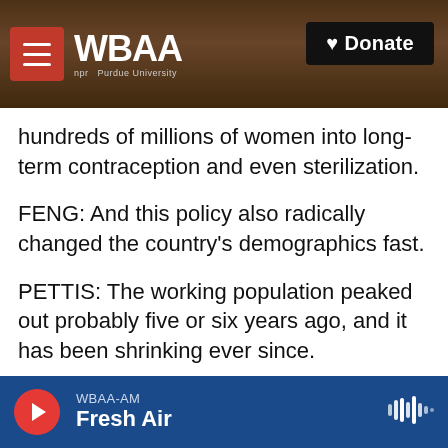[Figure (screenshot): WBAA radio website header with logo, hamburger menu, cherry blossom tree background photo, and Donate button]
hundreds of millions of women into long-term contraception and even sterilization.
FENG: And this policy also radically changed the country's demographics fast.
PETTIS: The working population peaked out probably five or six years ago, and it has been shrinking ever since.
FENG: China is now rapidly aging. That demographic sweet spot that led to all this cheap labor and cheap stuff for us is farther and farther
WBAA-AM Fresh Air